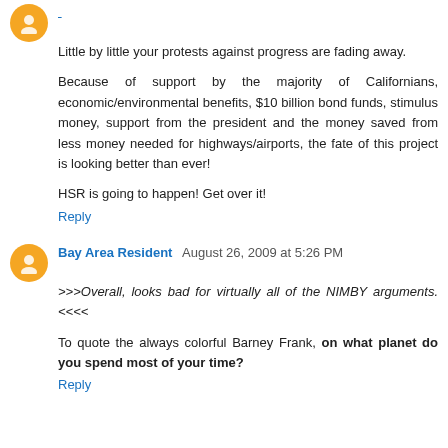Little by little your protests against progress are fading away.
Because of support by the majority of Californians, economic/environmental benefits, $10 billion bond funds, stimulus money, support from the president and the money saved from less money needed for highways/airports, the fate of this project is looking better than ever!
HSR is going to happen! Get over it!
Reply
Bay Area Resident  August 26, 2009 at 5:26 PM
>>>Overall, looks bad for virtually all of the NIMBY arguments. <<<<
To quote the always colorful Barney Frank, on what planet do you spend most of your time?
Reply